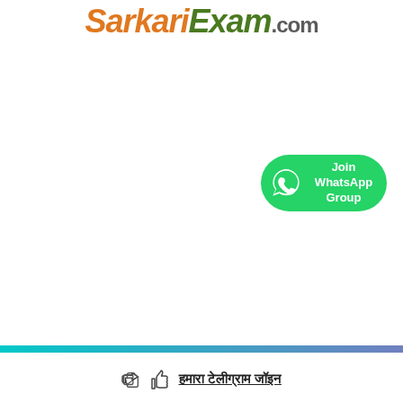[Figure (logo): SarkariExam.com logo in orange and green italic bold text]
[Figure (infographic): WhatsApp Join Group button with green WhatsApp phone icon and text 'Join WhatsApp Group']
[Figure (other): Teal to purple gradient horizontal bar at bottom]
👍 हमारा टेलीग्राम जॉइन